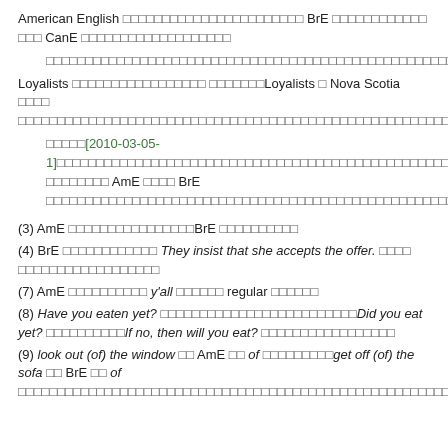American English □□□□□□□□□□□□□□□□□□□□□□□ BrE □□□□□□□□□□□□ □□□ CanE □□□□□□□□□□□□□□□□□□□
□□□□□□□□□□□□□□□□□□□□□□□□□□□□□□□□□□□□□□□□□□□□□□□□□□□□□□□□□□□
Loyalists □□□□□□□□□□□□□□□□□ □□□□□□□Loyalists □ Nova Scotia □□□□ □□□□□□□□□□□□□□□□□□□□□□□□□□□□□□□□□□□□□□□□□□□□□□□□□□□□□□□□□□□□□□□□□□□□□□□□□□□□□□□□□□□□□□□□□□□□□□□□□□
□□□□□[2010-03-05-1]□□□□□□□□□□□□□□□□□□□□□□□□□□□□□□□□□□□□□□□□□□□□□□□□□□ AmE □□□□ BrE □□□□□□□□□□□□□□□□□□□□□□□□□□□□□□□□□□□□□□□□□□□□□□□□□□□□□□□□□□
(3) AmE □□□□□□□□□□□□□□□□BrE □□□□□□□□□□
(4) BrE □□□□□□□□□□□□ They insist that she accepts the offer. □□□□ □□□□□□□□□□□□□□□□□□
(7) AmE □□□□□□□□□□ y'all □□□□□□ regular □□□□□□
(8) Have you eaten yet? □□□□□□□□□□□□□□□□□□□□□□□□□Did you eat yet? □□□□□□□□□□If no, then will you eat? □□□□□□□□□□□□□□□□□
(9) look out (of) the window □□ AmE □□ of □□□□□□□□□get off (of) the sofa □□ BrE □□ of □□□□□□□□□□□□□□□□□□□□□□□□□□□□□□□□□□□□□□□□□□□□□□□□□□□□□□□□□□